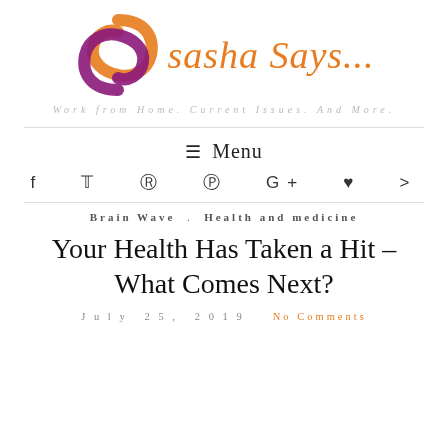[Figure (logo): Sasha Says blog logo: a stylized S in purple and orange swirl, with the text 'sasha Says...' in orange italic font beside it]
Work from Home. Current Issues. And More.
≡ Menu
f  ♥  ® ◎ G+ ♥ ))) (social media icons)
Brain Wave  .  Health and medicine
Your Health Has Taken a Hit – What Comes Next?
July 25, 2019   No Comments